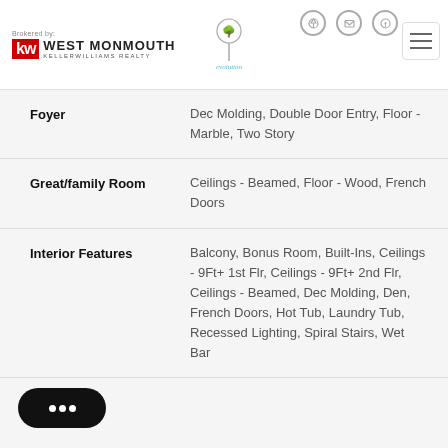Brokered by: KW WEST MONMOUTH KELLERWILLIAMS REALTY
Foyer: Dec Molding, Double Door Entry, Floor - Marble, Two Story
Great/family Room: Ceilings - Beamed, Floor - Wood, French Doors
Interior Features: Balcony, Bonus Room, Built-Ins, Ceilings - 9Ft+ 1st Flr, Ceilings - 9Ft+ 2nd Flr, Ceilings - Beamed, Dec Molding, Den, French Doors, Hot Tub, Laundry Tub, Recessed Lighting, Spiral Stairs, Wet Bar